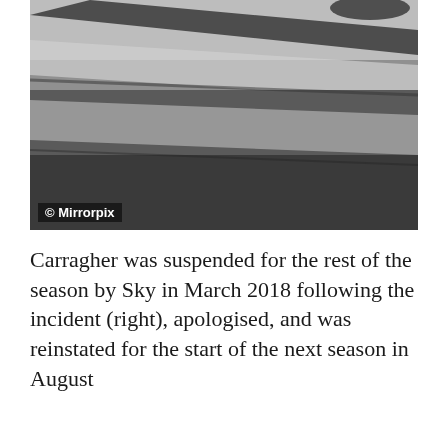[Figure (photo): Black and white photo of what appears to be a car, showing the side panel and roof. Image credited to Mirrorpix.]
Carragher was suspended for the rest of the season by Sky in March 2018 following the incident (right), apologised, and was reinstated for the start of the next season in August
[Figure (screenshot): Video thumbnail bar showing a circular profile image with 'DISRUPTORS' branding and the title 'Matt Le Tissier Reveals The Truth ...' with a three-dot menu icon, on a dark background.]